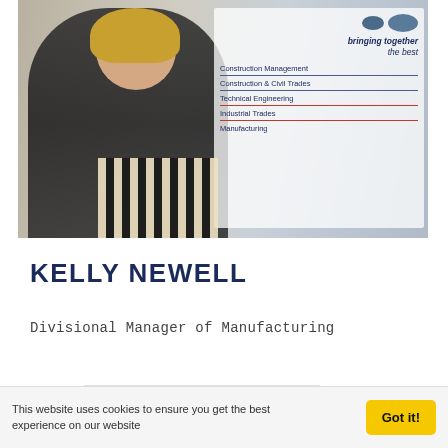[Figure (photo): Photo of Kelly Newell, a blonde woman wearing a black top and striped trousers, standing in front of a company banner that reads 'bringing together the best' with services listed: Construction Management, Construction & Civil Trades, Technical Engineering, Industrial Trades, Manufacturing.]
KELLY NEWELL
Divisional Manager of Manufacturing
This website uses cookies to ensure you get the best experience on our website